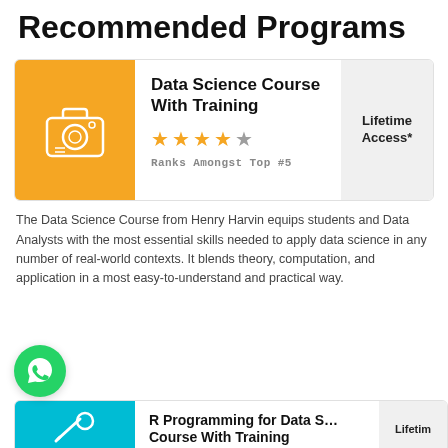Recommended Programs
[Figure (screenshot): Data Science Course card with orange camera/laptop icon, 4.5 star rating, Ranks Amongst Top #5, Lifetime Access* badge]
The Data Science Course from Henry Harvin equips students and Data Analysts with the most essential skills needed to apply data science in any number of real-world contexts. It blends theory, computation, and application in a most easy-to-understand and practical way.
[Figure (logo): WhatsApp green circular button]
[Figure (screenshot): R Programming for Data S... Course With Training card with teal icon, Lifetime Access badge]